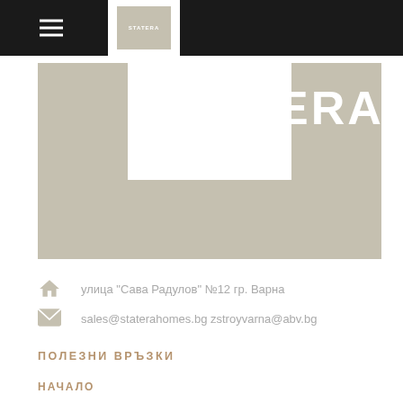[Figure (logo): Statera company logo with hamburger menu on dark navigation bar]
[Figure (logo): STATERA large text logo on grey geometric background]
улица "Сава Радулов" №12 гр. Варна
sales@staterahomes.bg zstroyvarna@abv.bg
ПОЛЕЗНИ ВРЪЗКИ
НАЧАЛО